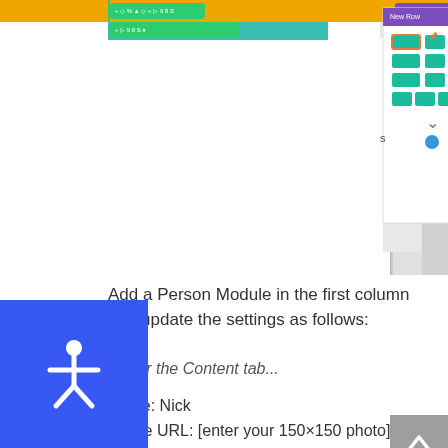[Figure (screenshot): Screenshot of a website builder interface showing a module library panel with teal/green grid module icons, one selected with a red border, on a yellow/gold top bar background with a purple dropdown menu labeled 'New Row' and 'Add From Library'.]
Add a Person Module in the first column and update the settings as follows:
Under the Content tab...
Name: Nick
Image URL: [enter your 150×150 photo]
Under the Design tab...
Header Font: Raleway Light, Bold (B), Uppercase (TT)
Header Font Size: 13px